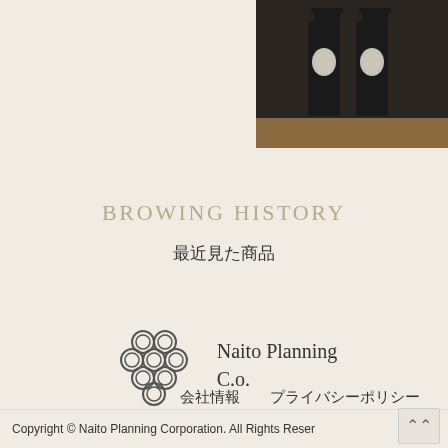[Figure (photo): Two dark wine bottles standing side by side on a wooden surface, photographed from the front, with round labels visible.]
BROWING HISTORY
最近見た商品
[Figure (logo): Naito Planning C.o. logo: circular cluster of overlapping rings forming a grape-like pattern, with company name text beside it.]
会社情報
プライバシーポリシー
お問合せ
Copyright © Naito Planning Corporation. All Rights Reser